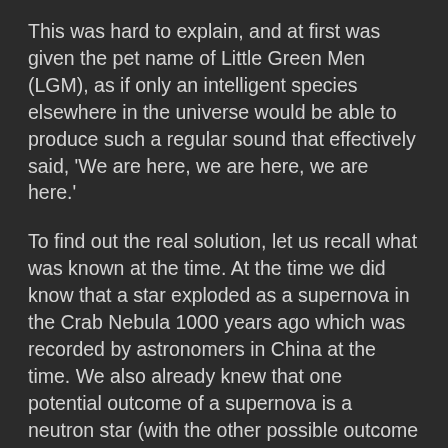This was hard to explain, and at first was given the pet name of Little Green Men (LGM), as if only an intelligent species elsewhere in the universe would be able to produce such a regular sound that effectively said, 'We are here, we are here, we are here.'
To find out the real solution, let us recall what was known at the time. At the time we did know that a star exploded as a supernova in the Crab Nebula 1000 years ago which was recorded by astronomers in China at the time. We also already knew that one potential outcome of a supernova is a neutron star (with the other possible outcome a black hole).
Let us also recall that a neutron star is not an ordinary type of star at all. It is not even made of gas like stars but rather is composed of neutrons. It also releases light not all over its round surface like our